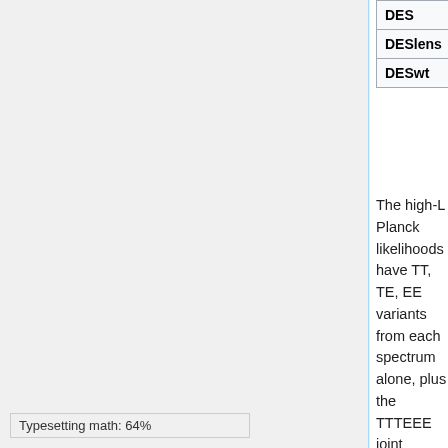| Tag | Description |
| --- | --- |
| DES | DES 1yr, cosmic s |
| DESlens | DES 1yr, cosmic s |
| DESwt | DES 1yr, galaxy a |
The high-L Planck likelihoods have TT, TE, EE variants from each spectrum alone, plus the TTTEEE joint constraint. When the lensing likelihood is used with DESpriors or lenspriors, it is marginalized over the theoretical CMB power spectra (as described in the 2018 lensing paper).
Tags used to identify the model parameters that are varied are described in the introduction to the PDF table files.
Parameter Chains [edit]
We provide the full chains and getdist
Typesetting math: 64%